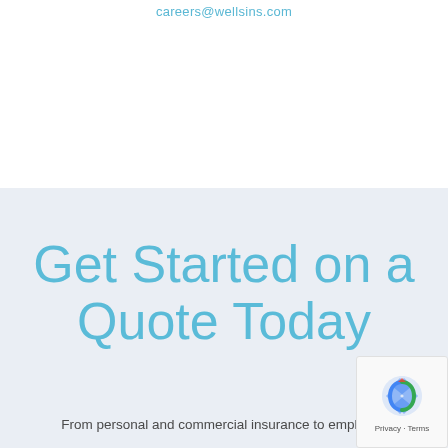careers@wellsins.com
Get Started on a Quote Today
From personal and commercial insurance to employee